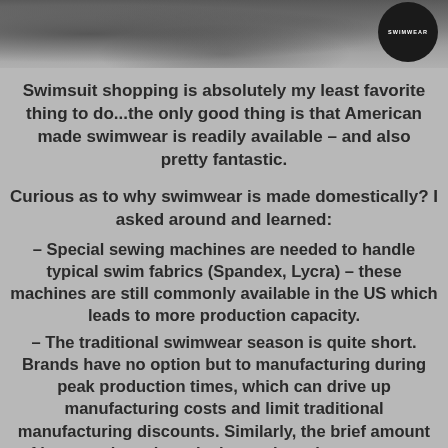[Figure (photo): Grainy dark photo background with a circular logo badge in the top right corner reading SWIMWEAR]
Swimsuit shopping is absolutely my least favorite thing to do...the only good thing is that American made swimwear is readily available – and also pretty fantastic.
Curious as to why swimwear is made domestically? I asked around and learned:
– Special sewing machines are needed to handle typical swim fabrics (Spandex, Lycra) – these machines are still commonly available in the US which leads to more production capacity.
– The traditional swimwear season is quite short. Brands have no option but to manufacturing during peak production times, which can drive up manufacturing costs and limit traditional manufacturing discounts. Similarly, the brief amount of in-store time gives designers less time to react to sales and reorder from overseas manufacturers; domestic